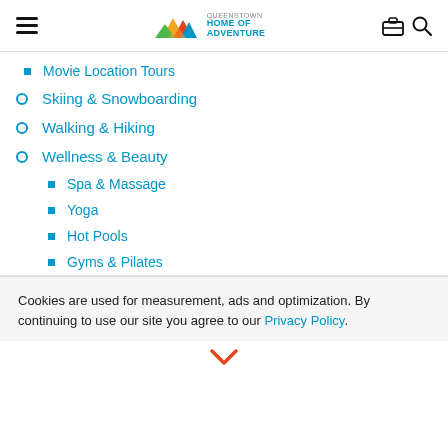Queenstown Home of Adventure — navigation header with hamburger menu, logo, luggage and search icons
Movie Location Tours
Skiing & Snowboarding
Walking & Hiking
Wellness & Beauty
Spa & Massage
Yoga
Hot Pools
Gyms & Pilates
Cookies are used for measurement, ads and optimization. By continuing to use our site you agree to our Privacy Policy.